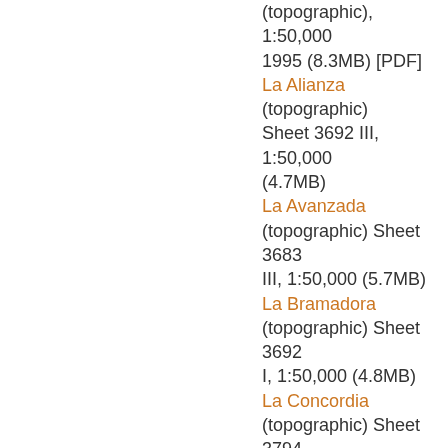(topographic), 1:50,000 1995 (8.3MB) [PDF]
La Alianza (topographic) Sheet 3692 III, 1:50,000 (4.7MB)
La Avanzada (topographic) Sheet 3683 III, 1:50,000 (5.7MB)
La Bramadora (topographic) Sheet 3692 I, 1:50,000 (4.8MB)
La Concordia (topographic) Sheet 3794 II, 1:50,000 (4.9MB)
La Esmeralda (topographic) Sheet 3694 II, 1:50,000 (4.4MB)
La Estacada (topographic) Sheet 3588